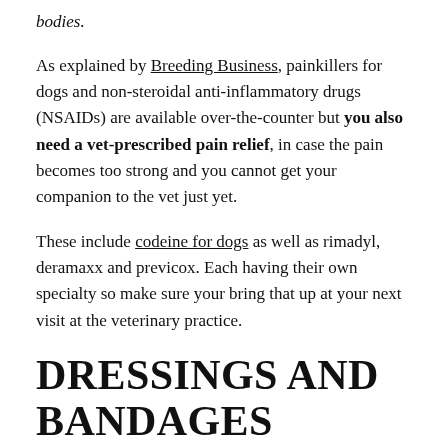bodies.
As explained by Breeding Business, painkillers for dogs and non-steroidal anti-inflammatory drugs (NSAIDs) are available over-the-counter but you also need a vet-prescribed pain relief, in case the pain becomes too strong and you cannot get your companion to the vet just yet.
These include codeine for dogs as well as rimadyl, deramaxx and previcox. Each having their own specialty so make sure your bring that up at your next visit at the veterinary practice.
DRESSINGS AND BANDAGES
Dressings are for...